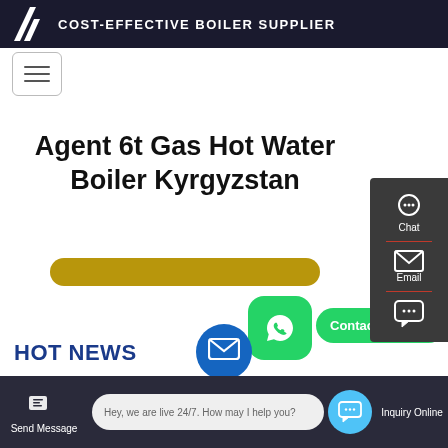COST-EFFECTIVE BOILER SUPPLIER
[Figure (screenshot): Website screenshot of a boiler supplier page showing navigation, page title 'Agent 6t Gas Hot Water Boiler Kyrgyzstan', chat and contact widgets, and HOT NEWS section]
Agent 6t Gas Hot Water Boiler Kyrgyzstan
Contact us now!
HOT NEWS
Hey, we are live 24/7. How may I help you?
Send Message
Inquiry Online